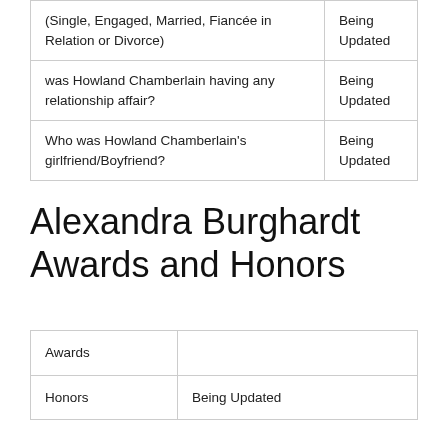| Question | Status |
| --- | --- |
| (Single, Engaged, Married, Fiancée in Relation or Divorce) | Being Updated |
| was Howland Chamberlain having any relationship affair? | Being Updated |
| Who was Howland Chamberlain's girlfriend/Boyfriend? | Being Updated |
Alexandra Burghardt Awards and Honors
| Category | Value |
| --- | --- |
| Awards |  |
| Honors | Being Updated |